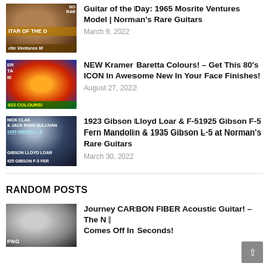[Figure (photo): Thumbnail image: Guitar of the Day video, dark background with guitar player, text overlay 'GUITAR OF THE D' and 'rite Ventures M']
Guitar of the Day: 1965 Mosrite Ventures Model | Norman's Rare Guitars
March 9, 2022
[Figure (photo): Thumbnail image: Kramer Baretta Colours video, red and yellow guitars, performer, text overlay 'ER', 'TA', 'IE', '022 COLOURS!']
NEW Kramer Baretta Colours! – Get This 80's ICON In Awesome New In Your Face Finishes!
August 27, 2022
[Figure (photo): Thumbnail image: Gibson Lloyd Loar video, dark background, text overlay 'NICK CLAS & JACK RYAN SULLIVAN', '1935 GIBSON L-5', 'GIBSON LLOYD LOAR', '925 GIBSON F-5 FER']
1923 Gibson Lloyd Loar & F-51925 Gibson F-5 Fern Mandolin & 1935 Gibson L-5 at Norman's Rare Guitars
March 30, 2022
RANDOM POSTS
[Figure (photo): Thumbnail image: Journey Carbon Fiber Acoustic Guitar video, person with guitar]
Journey CARBON FIBER Acoustic Guitar! – The N… Comes Off In Seconds!